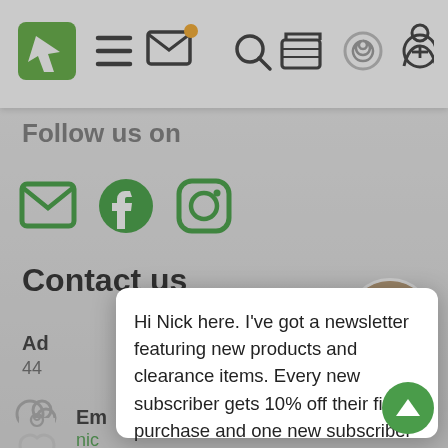[Figure (screenshot): Website navigation bar with green logo, hamburger menu, envelope icon with orange badge, search, basket, spiral, and person icons]
Follow us on
[Figure (infographic): Social media icons: green email envelope, green Facebook logo, green Instagram camera]
Contact us
Ad
44
Em
nic
Ph
03-
[Figure (photo): Circular avatar photo of a man with short hair outdoors]
Hi Nick here. I've got a newsletter featuring new products and clearance items. Every new subscriber gets 10% off their first purchase and one new subscriber wins a $50 voucher!
Learn More
No Thanks